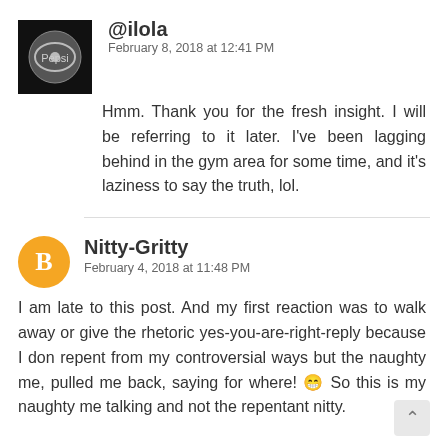@ilola
February 8, 2018 at 12:41 PM
Hmm. Thank you for the fresh insight. I will be referring to it later. I've been lagging behind in the gym area for some time, and it's laziness to say the truth, lol.
Nitty-Gritty
February 4, 2018 at 11:48 PM
I am late to this post. And my first reaction was to walk away or give the rhetoric yes-you-are-right-reply because I don repent from my controversial ways but the naughty me, pulled me back, saying for where! 😁  So this is my naughty me talking and not the repentant nitty.